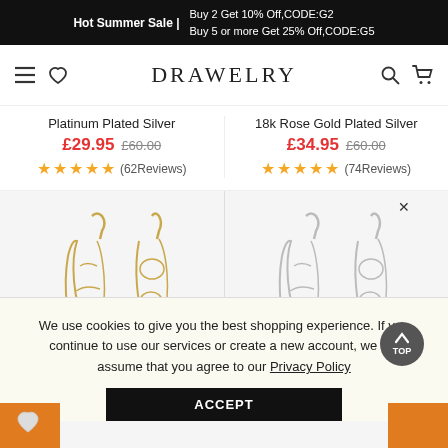Hot Summer Sale | Buy 2 Get 10% Off,CODE:G2  Buy 5 or more Get 25% Off,CODE:G5
DRAWELRY
Platinum Plated Silver
£29.95  £60.00  (62Reviews)
18k Rose Gold Plated Silver
£34.95  £60.00  (74Reviews)
[Figure (photo): Gold script name earrings on hooks, two pairs shown side by side]
[Figure (photo): Silver script name earrings on hooks, two pairs shown side by side]
We use cookies to give you the best shopping experience. If you continue to use our services or create a new account, we will assume that you agree to our Privacy Policy
ACCEPT